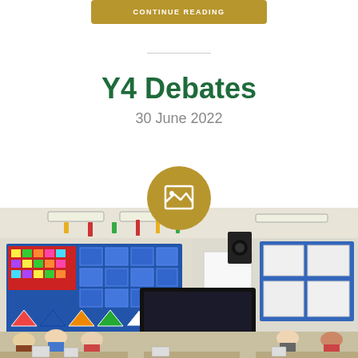CONTINUE READING
Y4 Debates
30 June 2022
[Figure (photo): Classroom photo showing students seated at desks with colourful wall displays, a large TV screen, and ceiling lights. A golden circular image placeholder icon overlaps the top of the photo.]